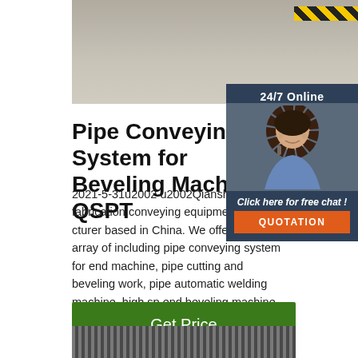[Figure (photo): Top photo of industrial floor/conveying area with hazard stripe in corner]
[Figure (infographic): 24/7 Online chat widget with customer service representative photo, 'Click here for free chat!' text, and orange QUOTATION button]
Pipe Conveying System for Beveling Machine, QSPT
2021-5-31u2002·u2002Qianshan is pipe fabrication conveying equipment manufacturer based in China. We offer a wide array of including pipe conveying system for end machine, pipe cutting and beveling work, pipe automatic welding machine, high sp end beveling machine and more.
[Figure (photo): Bottom photo showing industrial pipe conveying system equipment]
Get Price